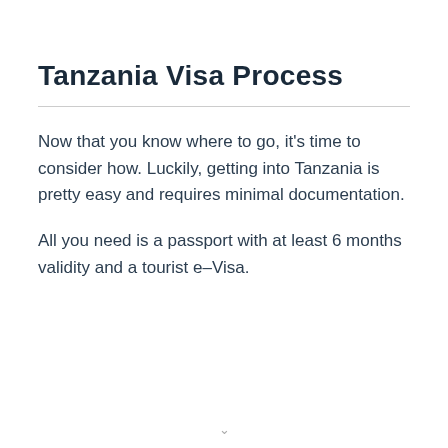Tanzania Visa Process
Now that you know where to go, it’s time to consider how. Luckily, getting into Tanzania is pretty easy and requires minimal documentation.
All you need is a passport with at least 6 months validity and a tourist e–Visa.